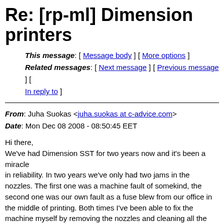Re: [rp-ml] Dimension printers
This message: [ Message body ] [ More options ]
Related messages: [ Next message ] [ Previous message ] [ In reply to ]
From: Juha Suokas <juha.suokas at c-advice.com>
Date: Mon Dec 08 2008 - 08:50:45 EET
Hi there,
We've had Dimension SST for two years now and it's been a miracle
in reliability. In two years we've only had two jams in the nozzles. The first one was a machine fault of somekind, the second one was our own fault as a fuse blew from our office in the middle of printing. Both times I've been able to fix the machine myself by removing the nozzles and cleaning all the stuck material from them. Only a 30min-1hour job.
Besides those two problems the only thing needed is vacuuming the
chamber every now and then and apllying some grease on the guide